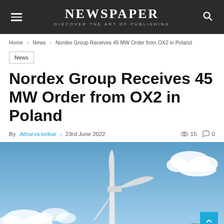NEWSPAPER — DISCOVER THE ART OF PUBLISHING
Home › News › Nordex Group Receives 45 MW Order from OX2 in Poland
News
Nordex Group Receives 45 MW Order from OX2 in Poland
By Atharva kelkar - 23rd June 2022  15  0
[Figure (photo): Wind turbine against a blue sky with white clouds and green tree tops visible at the bottom right.]